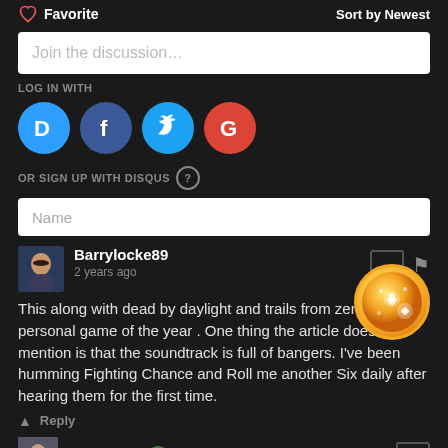Favorite | Sort by Newest
Join the discussion…
LOG IN WITH
[Figure (logo): Social login icons: Disqus (D), Facebook (f), Twitter bird, Google (G)]
OR SIGN UP WITH DISQUS ?
Name
Barrylocke89
2 years ago
This along with dead by daylight and trails from zero is my personal game of the year . One thing the article doesn't mention is that the soundtrack is full of bangers. I've been humming Fighting Chance and Roll me another Six daily after hearing them for the first time.
Reply
Vagrant_Al